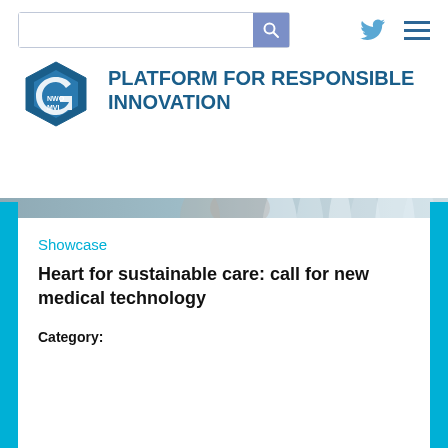[Figure (logo): NWO MVI hexagon logo with text 'NWO MVI' inside, blue geometric polygon shape]
PLATFORM FOR RESPONSIBLE INNOVATION
[Figure (photo): Blurry background image of laboratory equipment, test tubes or syringes, blue/grey tones]
Showcase
Heart for sustainable care: call for new medical technology
Category: